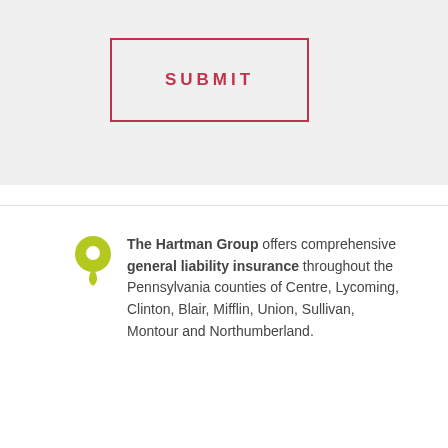[Figure (other): A rectangular SUBMIT button with a red border and red uppercase letter-spaced text reading SUBMIT, on a light grey background.]
The Hartman Group offers comprehensive general liability insurance throughout the Pennsylvania counties of Centre, Lycoming, Clinton, Blair, Mifflin, Union, Sullivan, Montour and Northumberland.